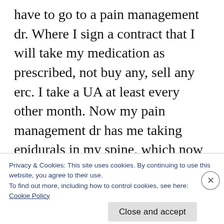have to go to a pain management dr. Where I sign a contract that I will take my medication as prescribed, not buy any, sell any erc. I take a UA at least every other month. Now my pain management dr has me taking epidurals in my spine, which now Im learning is dangerous. I had weight loss surgery and told my pain management dr that i had run out of my medication due to pain, he said, I would like to remind you about the contract u sign, you should never take more than what is
Privacy & Cookies: This site uses cookies. By continuing to use this website, you agree to their use.
To find out more, including how to control cookies, see here:
Cookie Policy
Close and accept